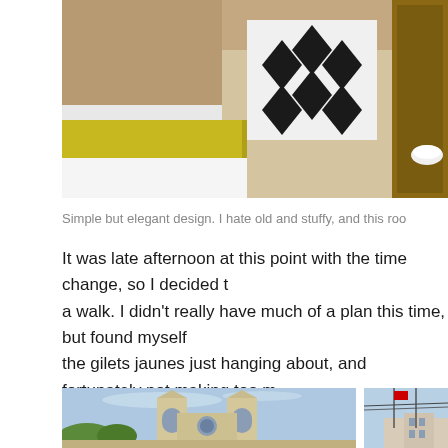[Figure (photo): Hotel room with a bed featuring a black and white geometric patterned pillow and yellow blanket, wooden furniture visible on right]
Simple but elegant design. I hate old and stuffy, and this roo
It was late afternoon at this point with the time change, so I decided t a walk. I didn't really have much of a plan this time, but found myself the gilets jaunes just hanging about, and fortunately not making too m
[Figure (photo): Notre-Dame Cathedral in Paris photographed against a blue sky with wispy clouds, green trees visible on left]
[Figure (photo): Partial view of a Paris street scene with buildings and what appears to be a flag or pole]